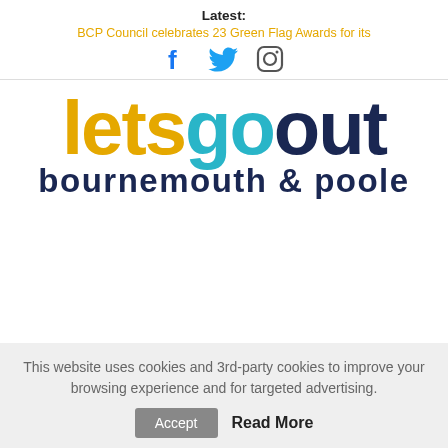Latest:
BCP Council celebrates 23 Green Flag Awards for its
[Figure (other): Social media icons: Facebook, Twitter, Instagram]
[Figure (logo): letsgoout bournemouth & poole logo. 'lets' in yellow/gold, 'go' in teal/cyan, 'out' in dark navy blue, 'bournemouth & poole' in dark navy blue below]
This website uses cookies and 3rd-party cookies to improve your browsing experience and for targeted advertising.
Accept  Read More